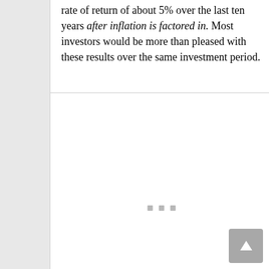rate of return of about 5% over the last ten years after inflation is factored in. Most investors would be more than pleased with these results over the same investment period.
[Figure (other): Blank white content area with three small gray square dots centered near the middle, representing a loading or placeholder state.]